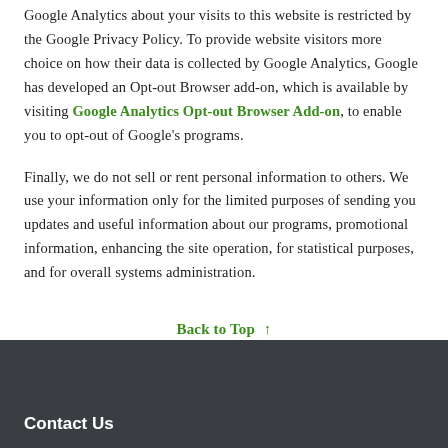Google Analytics about your visits to this website is restricted by the Google Privacy Policy. To provide website visitors more choice on how their data is collected by Google Analytics, Google has developed an Opt-out Browser add-on, which is available by visiting Google Analytics Opt-out Browser Add-on, to enable you to opt-out of Google's programs.
Finally, we do not sell or rent personal information to others. We use your information only for the limited purposes of sending you updates and useful information about our programs, promotional information, enhancing the site operation, for statistical purposes, and for overall systems administration.
Back to Top ↑
Contact Us